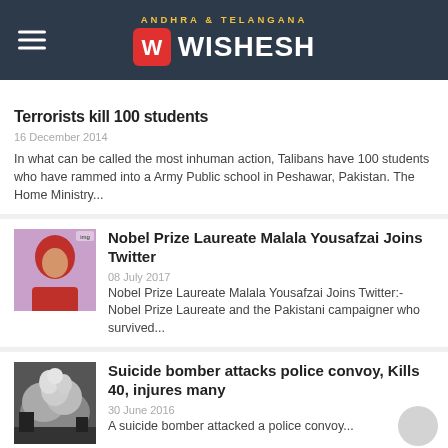ANDHRA & TELANGANA WISHESH
Terrorists kill 100 students
16 December 2014
In what can be called the most inhuman action, Talibans have 100 students who have rammed into a Army Public school in Peshawar, Pakistan. The Home Ministry...
[Figure (photo): Photo of Malala Yousafzai wearing a red headscarf]
Nobel Prize Laureate Malala Yousafzai Joins Twitter
08 July 2017
Nobel Prize Laureate Malala Yousafzai Joins Twitter:- Nobel Prize Laureate and the Pakistani campaigner who survived...
[Figure (photo): Photo of an explosion or smoke cloud]
Suicide bomber attacks police convoy, Kills 40, injures many
30 June 2016
A suicide bomber attacked a police convoy...